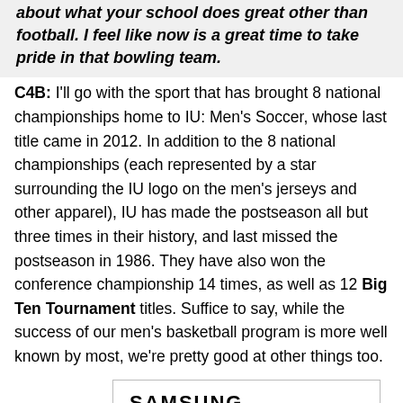about what your school does great other than football. I feel like now is a great time to take pride in that bowling team.
C4B: I'll go with the sport that has brought 8 national championships home to IU: Men's Soccer, whose last title came in 2012. In addition to the 8 national championships (each represented by a star surrounding the IU logo on the men's jerseys and other apparel), IU has made the postseason all but three times in their history, and last missed the postseason in 1986. They have also won the conference championship 14 times, as well as 12 Big Ten Tournament titles. Suffice to say, while the success of our men's basketball program is more well known by most, we're pretty good at other things too.
[Figure (logo): Samsung logo advertisement box]